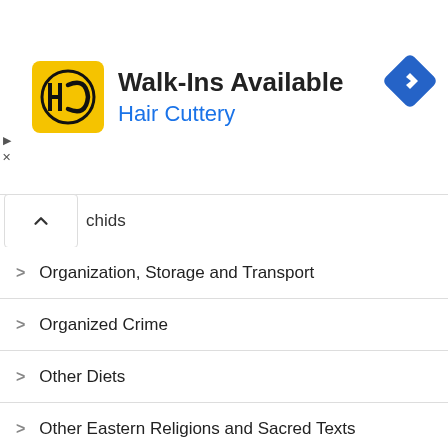[Figure (screenshot): Hair Cuttery advertisement banner with yellow square logo containing HC letters, text 'Walk-Ins Available' and 'Hair Cuttery' in blue, and a blue navigation diamond icon on the right]
chids
Organization, Storage and Transport
Organized Crime
Other Diets
Other Eastern Religions and Sacred Texts
Other Media
Other Office Equipment
Other Team Sports
Outdoor and Recreational Areas